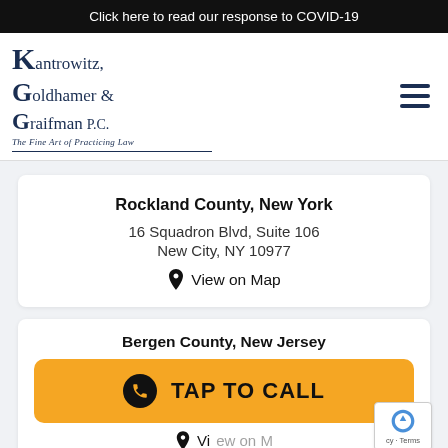Click here to read our response to COVID-19
[Figure (logo): Kantrowitz, Goldhamer & Graifman P.C. law firm logo with tagline 'The Fine Art of Practicing Law']
Rockland County, New York
16 Squadron Blvd, Suite 106
New City, NY 10977
View on Map
Bergen County, New Jersey
TAP TO CALL
View on Map